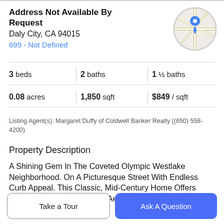Address Not Available By Request
Daly City, CA 94015
699 - Not Defined
[Figure (map): Circular map thumbnail with a blue location pin marker on a road map background]
3 beds   2 baths   1 ½ baths
0.08 acres   1,850 sqft   $849 / sqft
Listing Agent(s): Margaret Duffy of Coldwell Banker Realty ((650) 558-4200)
Property Description
A Shining Gem In The Coveted Olympic Westlake Neighborhood. On A Picturesque Street With Endless Curb Appeal. This Classic, Mid-Century Home Offers Warmth And Contemporary Aesthetics For Today's Modern